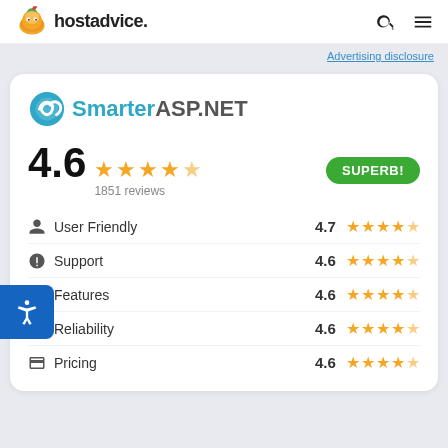hostadvice.
Advertising disclosure
[Figure (logo): SmarterASP.NET logo with teal circular icon]
4.6 ★★★★½ 1851 reviews SUPERB!
User Friendly 4.7 ★★★★½
Support 4.6 ★★★★½
Features 4.6 ★★★★½
Reliability 4.6 ★★★★½
Pricing 4.6 ★★★★½